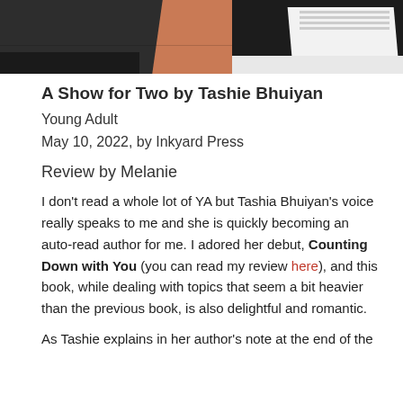[Figure (photo): Top portion of photo showing shoes on an orange/terracotta floor — dark shoes on left, black and white sneakers on right]
A Show for Two by Tashie Bhuiyan
Young Adult
May 10, 2022, by Inkyard Press
Review by Melanie
I don't read a whole lot of YA but Tashia Bhuiyan's voice really speaks to me and she is quickly becoming an auto-read author for me. I adored her debut, Counting Down with You (you can read my review here), and this book, while dealing with topics that seem a bit heavier than the previous book, is also delightful and romantic.
As Tashie explains in her author's note at the end of the